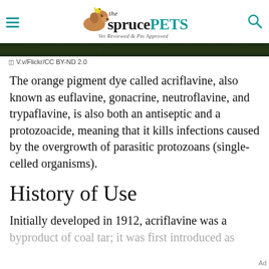the spruce PETS — Vet Reviewed & Pet Approved
[Figure (photo): Dark nature/outdoor photo strip, partially visible]
V.v/Flickr/CC BY-ND 2.0
The orange pigment dye called acriflavine, also known as euflavine, gonacrine, neutroflavine, and trypaflavine, is also both an antiseptic and a protozoacide, meaning that it kills infections caused by the overgrowth of parasitic protozoans (single-celled organisms).
History of Use
Initially developed in 1912, acriflavine was a byproduct of coal tar; it was first introduced as